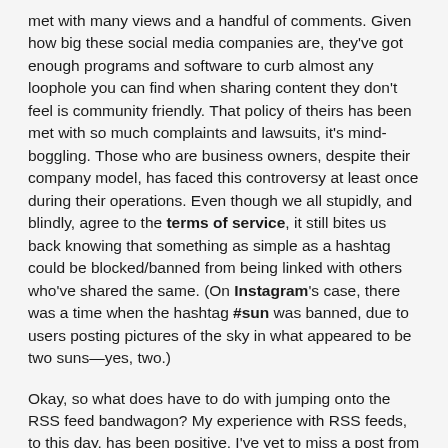met with many views and a handful of comments. Given how big these social media companies are, they've got enough programs and software to curb almost any loophole you can find when sharing content they don't feel is community friendly. That policy of theirs has been met with so much complaints and lawsuits, it's mind-boggling. Those who are business owners, despite their company model, has faced this controversy at least once during their operations. Even though we all stupidly, and blindly, agree to the terms of service, it still bites us back knowing that something as simple as a hashtag could be blocked/banned from being linked with others who've shared the same. (On Instagram's case, there was a time when the hashtag #sun was banned, due to users posting pictures of the sky in what appeared to be two suns—yes, two.)
Okay, so what does have to do with jumping onto the RSS feed bandwagon? My experience with RSS feeds, to this day, has been positive. I've yet to miss a post from the websites I keep in touch with, and if I do, the app notifies me on the number of unread posts I currently have. Had I relied on social media, say, with sports, I wouldn't have known about Julius